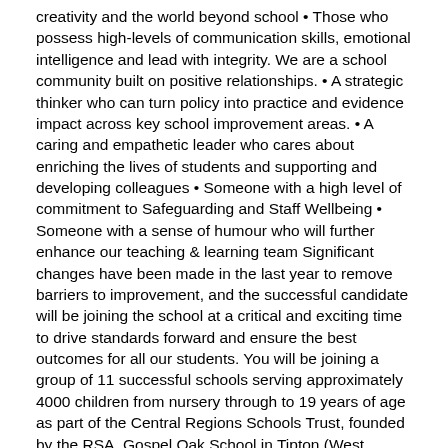creativity and the world beyond school • Those who possess high-levels of communication skills, emotional intelligence and lead with integrity. We are a school community built on positive relationships. • A strategic thinker who can turn policy into practice and evidence impact across key school improvement areas. • A caring and empathetic leader who cares about enriching the lives of students and supporting and developing colleagues • Someone with a high level of commitment to Safeguarding and Staff Wellbeing • Someone with a sense of humour who will further enhance our teaching & learning team Significant changes have been made in the last year to remove barriers to improvement, and the successful candidate will be joining the school at a critical and exciting time to drive standards forward and ensure the best outcomes for all our students. You will be joining a group of 11 successful schools serving approximately 4000 children from nursery through to 19 years of age as part of the Central Regions Schools Trust, founded by the RSA. Gospel Oak School in Tipton (West Midlands) is an oversubscribed and expanding 11-19 school with 1275 students (including Sixth Form). The school is highly aspirational, boasting fantastic facilities for both